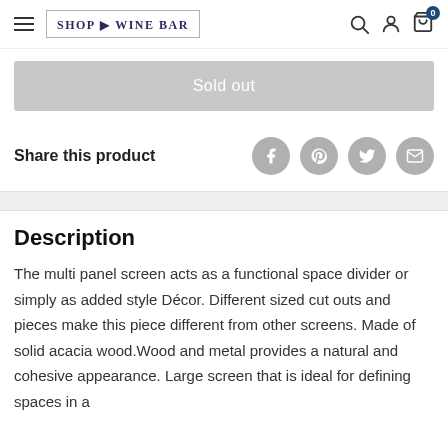SHOP WINE BAR
Sold out
Share this product
Description
The multi panel screen acts as a functional space divider or simply as added style Décor. Different sized cut outs and pieces make this piece different from other screens. Made of solid acacia wood.Wood and metal provides a natural and cohesive appearance. Large screen that is ideal for defining spaces in a